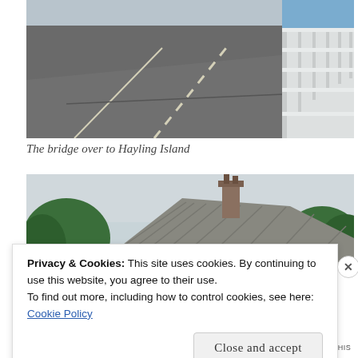[Figure (photo): A road/bridge surface viewed from driver perspective with white railing fence on the right side and water visible beyond, leading to Hayling Island]
The bridge over to Hayling Island
[Figure (photo): A thatched roof cottage with a prominent chimney, surrounded by green trees]
Privacy & Cookies: This site uses cookies. By continuing to use this website, you agree to their use.
To find out more, including how to control cookies, see here:
Cookie Policy
Close and accept